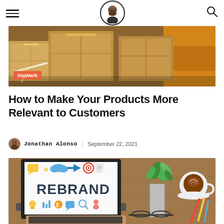DigiMark blog header with hamburger menu, logo, and search icon
[Figure (photo): Hero image showing cardboard boxes being packed, with a DigiMark category badge in orange]
How to Make Your Products More Relevant to Customers
Jonathan Alonso | September 22, 2021
[Figure (photo): Photo of a laptop screen displaying REBRAND text with colorful icons, on a desk with a plant, coffee cup, and glasses]